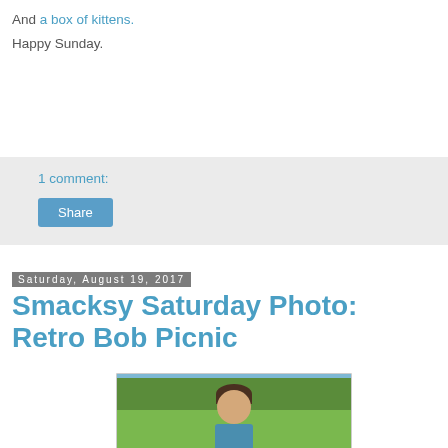And a box of kittens.
Happy Sunday.
1 comment:
Share
Saturday, August 19, 2017
Smacksy Saturday Photo: Retro Bob Picnic
[Figure (photo): A young boy at a park picnic, with green grass and trees in the background]